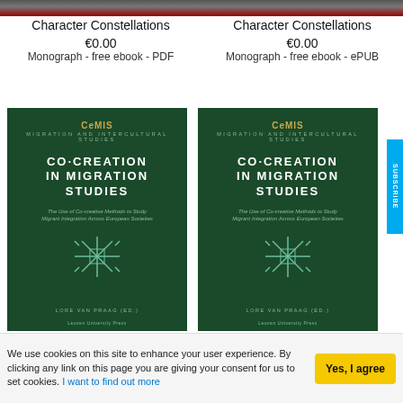[Figure (photo): Top strip showing partial book cover images — left side dark/red toned, right side similar]
Character Constellations
€0.00
Monograph - free ebook - PDF
Character Constellations
€0.00
Monograph - free ebook - ePUB
[Figure (photo): Book cover: Co-Creation in Migration Studies — CeMIS Migration and Intercultural Studies series, green cover, Lore Van Praag (Ed.), Leuven University Press]
[Figure (photo): Book cover: Co-Creation in Migration Studies — CeMIS Migration and Intercultural Studies series, green cover, Lore Van Praag (Ed.), Leuven University Press]
We use cookies on this site to enhance your user experience. By clicking any link on this page you are giving your consent for us to set cookies. I want to find out more